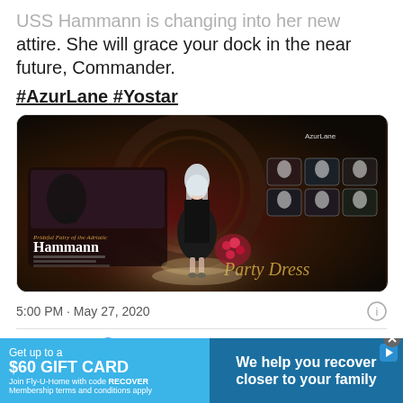USS Hammann is changing into her new attire. She will grace your dock in the near future, Commander.
#AzurLane #Yostar
[Figure (screenshot): Game promotional image for Azur Lane featuring character Hammann in a black party dress, with character info panel showing 'Prideful Fairy of the Adriatic - Hammann', Party Dress skin label, and multiple character portrait thumbnails on the right side.]
5:00 PM · May 27, 2020
2.6K  Reply  Copy link
[Figure (infographic): Advertisement banner: 'Get up to a $60 GIFT CARD Join Fly-U-Home with code RECOVER Membership terms and conditions apply' on blue background left side, 'We help you recover closer to your family' on dark blue background right side with play button.]